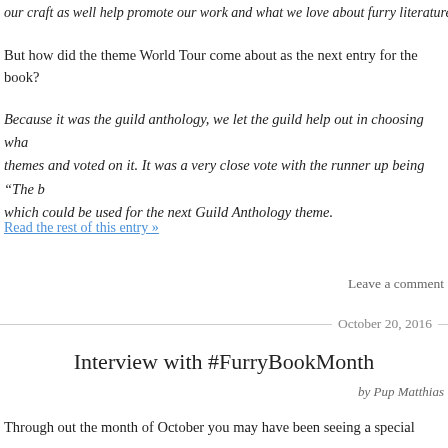our craft as well help promote our work and what we love about furry literature
But how did the theme World Tour come about as the next entry for the book?
Because it was the guild anthology, we let the guild help out in choosing what themes and voted on it. It was a very close vote with the runner up being “The b which could be used for the next Guild Anthology theme.
Read the rest of this entry »
Leave a comment
October 20, 2016
Interview with #FurryBookMonth
by Pup Matthias
Through out the month of October you may have been seeing a special